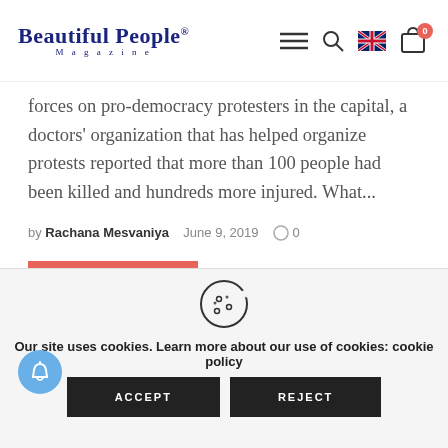Beautiful People® Magazine
forces on pro-democracy protesters in the capital, a doctors' organization that has helped organize protests reported that more than 100 people had been killed and hundreds more injured. What...
by Rachana Mesvaniya   June 9, 2019   0
READ MORE
Our site uses cookies. Learn more about our use of cookies: cookie policy
ACCEPT
REJECT